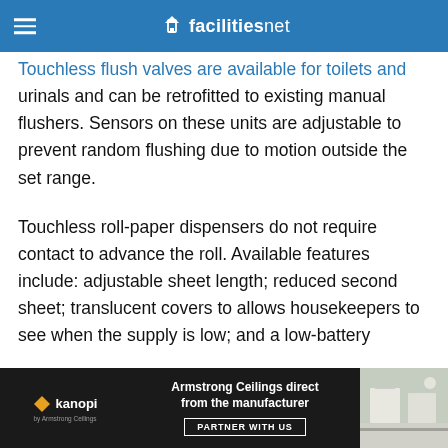facilitiesnet
Touchless flush valves are available for toilets and urinals and can be retrofitted to existing manual flushers. Sensors on these units are adjustable to prevent random flushing due to motion outside the set range.
Touchless roll-paper dispensers do not require contact to advance the roll. Available features include: adjustable sheet length; reduced second sheet; translucent covers to allows housekeepers to see when the supply is low; and a low-battery
[Figure (infographic): Advertisement banner for Kanopi / Armstrong Ceilings - 'Armstrong Ceilings direct from the manufacturer' with 'PARTNER WITH US' button and room image]